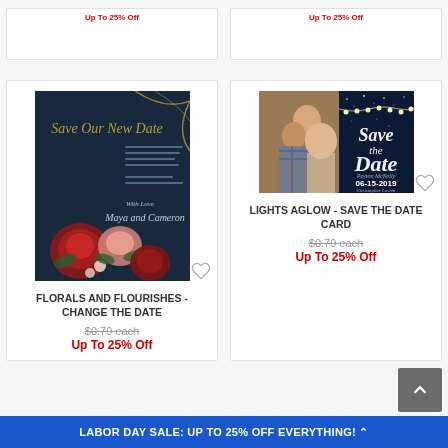[Figure (photo): Partial top section of two product cards visible, with red discount labels]
[Figure (photo): Florals and Flourishes - Change The Date save the date card with dark navy background and red/pink floral arrangement]
FLORALS AND FLOURISHES - CHANGE THE DATE
$0.79 each
Up To 25% Off
[Figure (photo): Lights Aglow - Save The Date Card with couple photo and navy starry night background with string lights]
LIGHTS AGLOW - SAVE THE DATE CARD
$0.79 each
Up To 25% Off
LABOR DAY SALE: UP TO 25% OFF EVERYTHING!